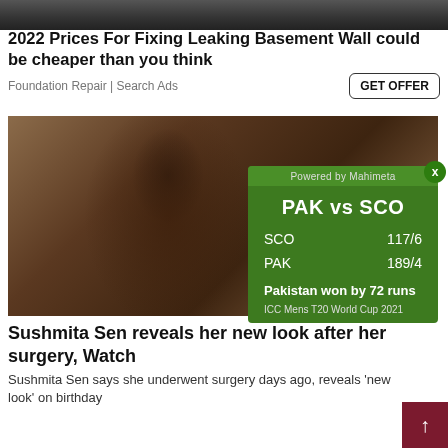[Figure (photo): Dark asphalt/road surface image cropped at top]
2022 Prices For Fixing Leaking Basement Wall could be cheaper than you think
Foundation Repair | Search Ads
[Figure (photo): Two-panel photo of Sushmita Sen wearing oversized sunglasses, with a cricket score overlay widget showing PAK vs SCO match result]
Sushmita Sen reveals her new look after her surgery, Watch
Sushmita Sen says she underwent surgery days ago, reveals 'new look' on birthday